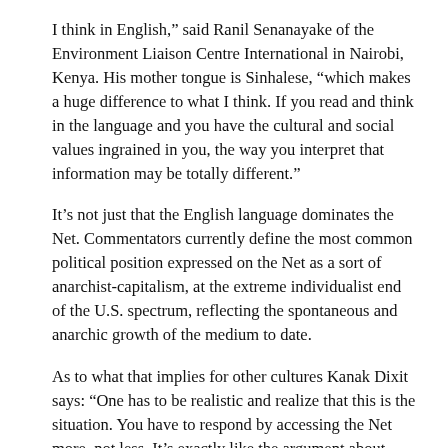I think in English,” said Ranil Senanayake of the Environment Liaison Centre International in Nairobi, Kenya. His mother tongue is Sinhalese, “which makes a huge difference to what I think. If you read and think in the language and you have the cultural and social values ingrained in you, the way you interpret that information may be totally different.”
It’s not just that the English language dominates the Net. Commentators currently define the most common political position expressed on the Net as a sort of anarchist-capitalism, at the extreme individualist end of the U.S. spectrum, reflecting the spontaneous and anarchic growth of the medium to date.
As to what that implies for other cultures Kanak Dixit says: “One has to be realistic and realize that this is the situation. You have to respond by accessing the Net more, not less. It’s exactly like the argument about satellite television: do we roll over and say the battle is won or produce better programs in the South?”